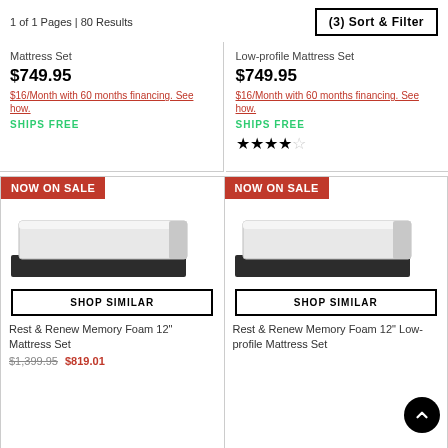1 of 1 Pages | 80 Results
(3) Sort & Filter
Mattress Set
$749.95
$16/Month with 60 months financing. See how.
SHIPS FREE
Low-profile Mattress Set
$749.95
$16/Month with 60 months financing. See how.
SHIPS FREE
★★★★☆
[Figure (photo): Mattress set product image with NOW ON SALE badge, left card]
SHOP SIMILAR
Rest & Renew Memory Foam 12" Mattress Set
$1,399.95 $819.01
[Figure (photo): Mattress set product image with NOW ON SALE badge, right card]
SHOP SIMILAR
Rest & Renew Memory Foam 12" Low-profile Mattress Set